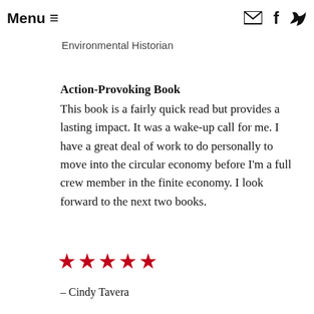Menu ≡  [email icon] f [twitter icon]
Environmental Historian
Action-Provoking Book
This book is a fairly quick read but provides a lasting impact. It was a wake-up call for me. I have a great deal of work to do personally to move into the circular economy before I'm a full crew member in the finite economy. I look forward to the next two books.
★★★★★
– Cindy Tavera